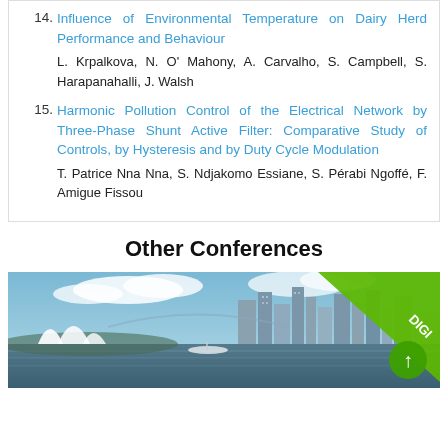14. Influence of Environmental Temperature on Dairy Herd Performance and Behaviour. L. Krpalkova, N. O' Mahony, A. Carvalho, S. Campbell, S. Harapanahalli, J. Walsh
15. Harmonic Pollution Control of the Electrical Network by Three-Phase Shunt Active Filter: Comparative Study of Controls, by Hysteresis and by Duty Cycle Modulation. T. Patrice Nna Nna, S. Ndjakomo Essiane, S. Pérabi Ngoffé, F. Amigue Fissou
Other Conferences
[Figure (photo): Aerial view of Sydney harbour with Opera House on the left and city skyline on the right, with a green diagonal banner in the top-right corner reading DIGI with an upward arrow circle below it.]